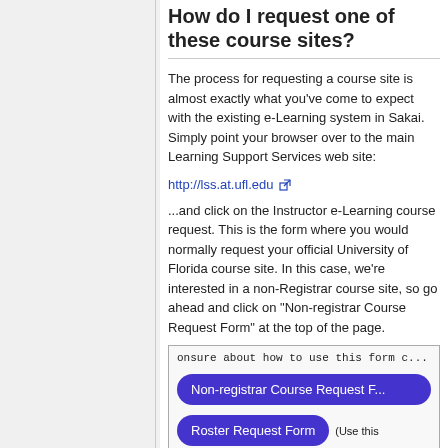How do I request one of these course sites?
The process for requesting a course site is almost exactly what you've come to expect with the existing e-Learning system in Sakai. Simply point your browser over to the main Learning Support Services web site:
http://lss.at.ufl.edu
...and click on the Instructor e-Learning course request. This is the form where you would normally request your official University of Florida course site. In this case, we're interested in a non-Registrar course site, so go ahead and click on "Non-registrar Course Request Form" at the top of the page.
[Figure (screenshot): Screenshot showing a web form with text 'onsure about how to use this form c...' and two purple buttons: 'Non-registrar Course Request F...' and 'Roster Request Form' with text '(Use this']